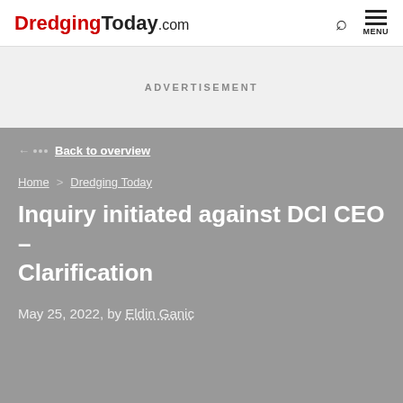DredgingToday.com
ADVERTISEMENT
Back to overview
Home > Dredging Today
Inquiry initiated against DCI CEO – Clarification
May 25, 2022, by Eldin Ganic